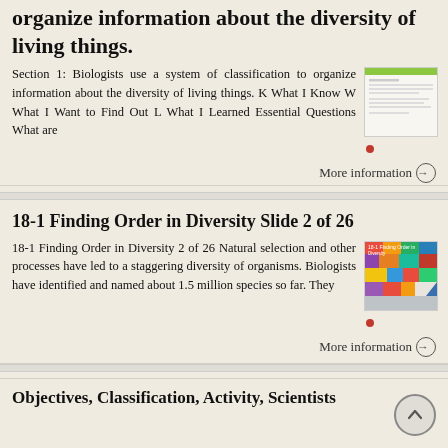organize information about the diversity of living things.
Section 1: Biologists use a system of classification to organize information about the diversity of living things. K What I Know W What I Want to Find Out L What I Learned Essential Questions What are
More information →
18-1 Finding Order in Diversity Slide 2 of 26
18-1 Finding Order in Diversity 2 of 26 Natural selection and other processes have led to a staggering diversity of organisms. Biologists have identified and named about 1.5 million species so far. They
More information →
Objectives, Classification, Activity, Scientists